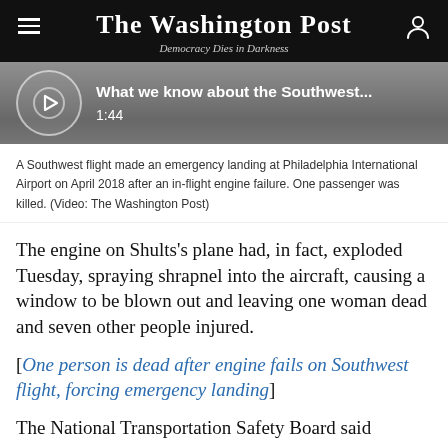The Washington Post
Democracy Dies in Darkness
[Figure (screenshot): Video thumbnail bar for 'What we know about the Southwest...' with duration 1:44, showing a circular loading/play icon on a dark grey background]
A Southwest flight made an emergency landing at Philadelphia International Airport on April 2018 after an in-flight engine failure. One passenger was killed. (Video: The Washington Post)
The engine on Shults’s plane had, in fact, exploded Tuesday, spraying shrapnel into the aircraft, causing a window to be blown out and leaving one woman dead and seven other people injured.
[One person is dead after engine fails on Southwest flight, forcing emergency landing]
The National Transportation Safety Board said